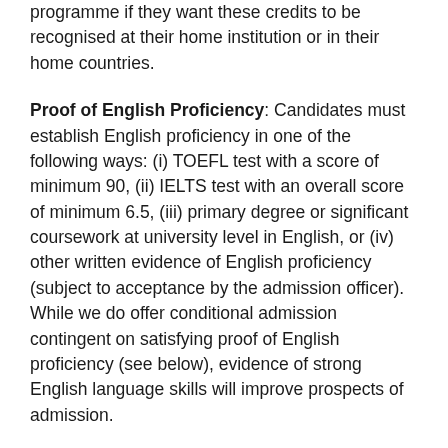programme if they want these credits to be recognised at their home institution or in their home countries.
Proof of English Proficiency: Candidates must establish English proficiency in one of the following ways: (i) TOEFL test with a score of minimum 90, (ii) IELTS test with an overall score of minimum 6.5, (iii) primary degree or significant coursework at university level in English, or (iv) other written evidence of English proficiency (subject to acceptance by the admission officer). While we do offer conditional admission contingent on satisfying proof of English proficiency (see below), evidence of strong English language skills will improve prospects of admission.
Submission of Application Form: The application form together with supporting documents should be sent to